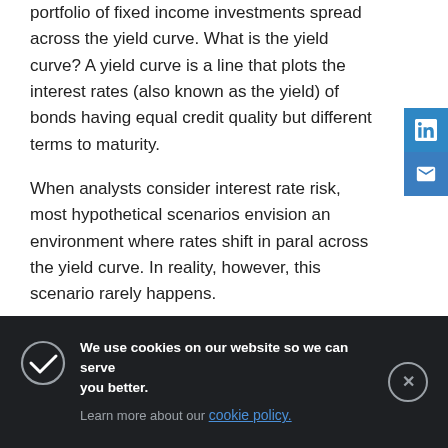portfolio of fixed income investments spread across the yield curve. What is the yield curve? A yield curve is a line that plots the interest rates (also known as the yield) of bonds having equal credit quality but different terms to maturity.
When analysts consider interest rate risk, most hypothetical scenarios envision an environment where rates shift in parallel across the yield curve. In reality, however, this scenario rarely happens.
The interest rates for bonds usually depend on whether it's a short-term or long-term bond. Short-term bonds are generally more sensitive to changes in the Federal Reserve's monetary policy. On the other hand, interest rates for a long-term bond are driven more by the outlook for long-term economic growth. Give[n this,] a bond ladder provides [a] diversified [mix/range] of m[aturities which means a bond ladder can provide] mo[re]...
Bon[d ladders can help investors manage interest] rate risk exposure across the yield curve. Instead of buying bonds...
[Figure (infographic): Cookie consent banner with dark background (#1e2023). Contains a checkmark icon on the left, text 'We use cookies on our website so we can serve you better.' in bold white, followed by 'Learn more about our cookie policy.' with 'cookie policy.' as a blue hyperlink. An X close button circle is on the right.]